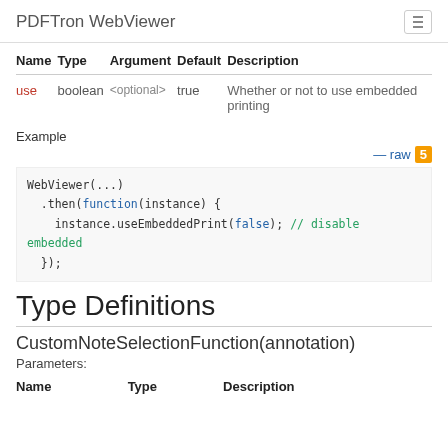PDFTron WebViewer
| Name | Type | Argument | Default | Description |
| --- | --- | --- | --- | --- |
| use | boolean | <optional> | true | Whether or not to use embedded printing |
Example
— raw 5
WebViewer(...)
  .then(function(instance) {
    instance.useEmbeddedPrint(false); // disable embedded
  });
Type Definitions
CustomNoteSelectionFunction(annotation)
Parameters:
| Name | Type | Description |
| --- | --- | --- |